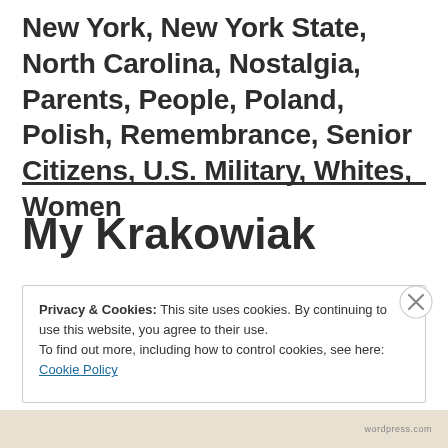New York, New York State, North Carolina, Nostalgia, Parents, People, Poland, Polish, Remembrance, Senior Citizens, U.S. Military, Whites, Women
My Krakowiak
Privacy & Cookies: This site uses cookies. By continuing to use this website, you agree to their use.
To find out more, including how to control cookies, see here: Cookie Policy
Close and accept
wordpress.com